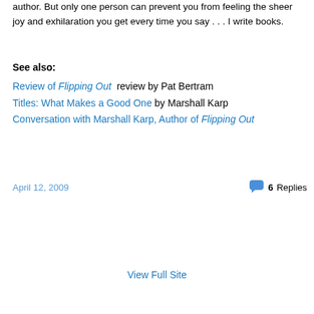author. But only one person can prevent you from feeling the sheer joy and exhilaration you get every time you say . . . I write books.
See also:
Review of Flipping Out  review by Pat Bertram
Titles: What Makes a Good One by Marshall Karp
Conversation with Marshall Karp, Author of Flipping Out
April 12, 2009
6 Replies
View Full Site